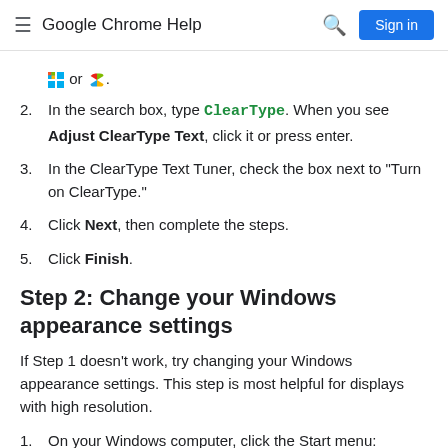Google Chrome Help
or [Windows icon] or [Windows XP icon].
2. In the search box, type ClearType. When you see Adjust ClearType Text, click it or press enter.
3. In the ClearType Text Tuner, check the box next to "Turn on ClearType."
4. Click Next, then complete the steps.
5. Click Finish.
Step 2: Change your Windows appearance settings
If Step 1 doesn't work, try changing your Windows appearance settings. This step is most helpful for displays with high resolution.
1. On your Windows computer, click the Start menu:
or [Windows icon] or [Windows XP icon].